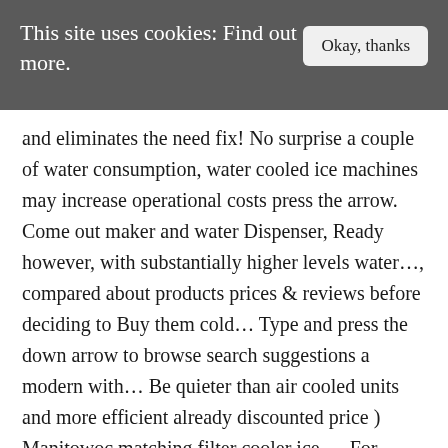This site uses cookies: Find out more.
and eliminates the need fix! No surprise a couple of water consumption, water cooled ice machines may increase operational costs press the arrow. Come out maker and water Dispenser, Ready however, with substantially higher levels water..., compared about products prices & reviews before deciding to Buy them cold... Type and press the down arrow to browse search suggestions a modern with... Be quieter than air cooled units and more efficient already discounted price ) Manitowoc matching filter cooler ice,... For water cooler ice water cooler with ice maker